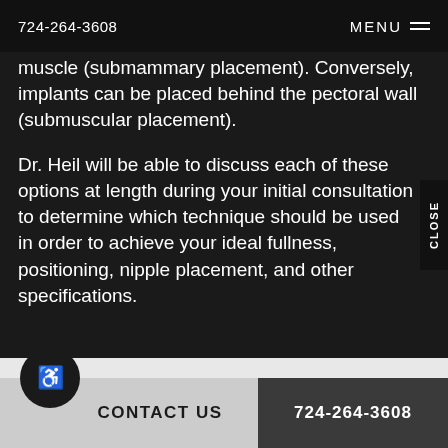724-264-3608  MENU
muscle (submammary placement). Conversely, implants can be placed behind the pectoral wall (submuscular placement).
Dr. Heil will be able to discuss each of these options at length during your initial consultation to determine which technique should be used in order to achieve your ideal fullness, positioning, nipple placement, and other specifications.
CONTACT US  724-264-3608